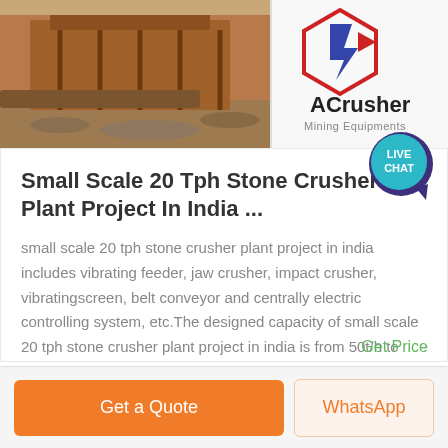[Figure (photo): Banner image showing a stone crusher machine on the left and the ACrusher Mining Equipment logo on the right]
[Figure (other): Live Chat speech bubble icon in teal/dark blue color]
Small Scale 20 Tph Stone Crusher Plant Project In India ...
small scale 20 tph stone crusher plant project in india includes vibrating feeder, jaw crusher, impact crusher, vibratingscreen, belt conveyor and centrally electric controlling system, etc.The designed capacity of small scale 20 tph stone crusher plant project in india is from 50t/h to 500t/h.
Get Price
Get a Quote
WhatsApp